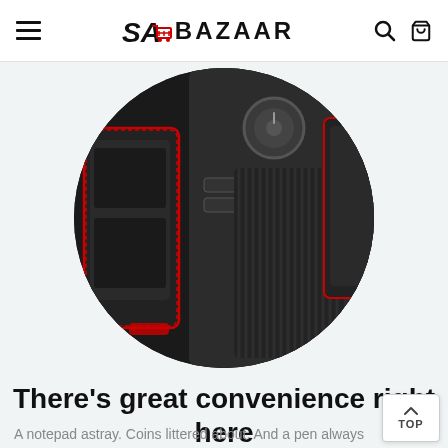SA BAZAAR
[Figure (photo): Circular cropped photo of black leather car seat gap organizer/storage box with red stitching, shown next to a car center console with knobs and buttons, all in dark tones.]
There’s great convenience right here
A notepad astray. Coins littered about. And a pen always playing the vanishing act. Tired of not being able